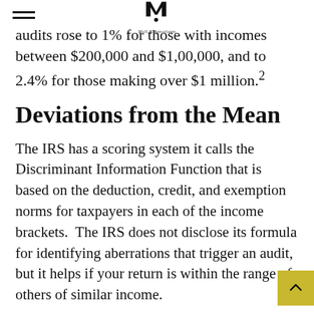Moll & Associates
audits rose to 1% for those with incomes between $200,000 and $1,00,000, and to 2.4% for those making over $1 million.²
Deviations from the Mean
The IRS has a scoring system it calls the Discriminant Information Function that is based on the deduction, credit, and exemption norms for taxpayers in each of the income brackets.  The IRS does not disclose its formula for identifying aberrations that trigger an audit, but it helps if your return is within the range of others of similar income.